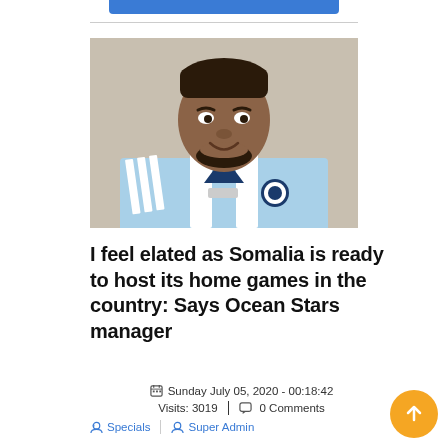[Figure (photo): A man wearing a light blue and white Adidas soccer jersey with a team crest, smiling, photographed from the chest up against a plain background.]
I feel elated as Somalia is ready to host its home games in the country: Says Ocean Stars manager
Sunday July 05, 2020 - 00:18:42
Visits: 3019  |  0 Comments
Specials  |  Super Admin